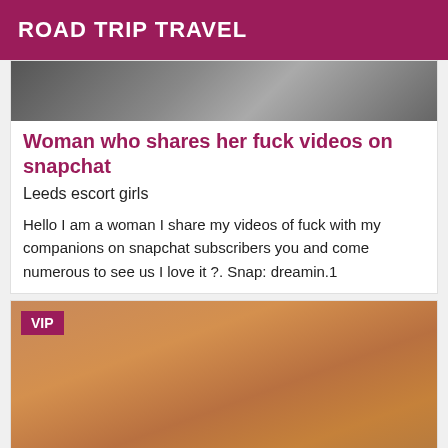ROAD TRIP TRAVEL
[Figure (photo): Dark blurry photo, partial view of a person]
Woman who shares her fuck videos on snapchat
Leeds escort girls
Hello I am a woman I share my videos of fuck with my companions on snapchat subscribers you and come numerous to see us I love it ?. Snap: dreamin.1
[Figure (photo): Blurry close-up photo of a person holding a phone, warm orange/brown tones, with a VIP badge overlay]